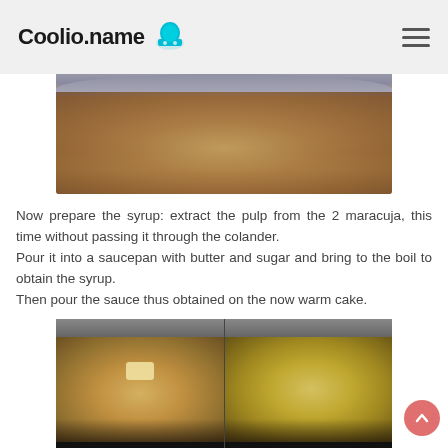Coolio.name
[Figure (photo): Top portion of a baked cake in a round pan with golden-brown surface]
Now prepare the syrup: extract the pulp from the 2 maracuja, this time without passing it through the colander.
Pour it into a saucepan with butter and sugar and bring to the boil to obtain the syrup.
Then pour the sauce thus obtained on the now warm cake.
[Figure (photo): Two side-by-side photos of saucepans on stovetop: left pan shows butter and passion fruit pulp mixture, right pan shows the boiling syrup]